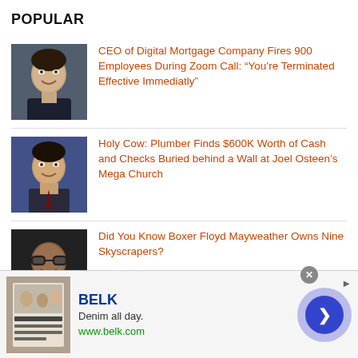POPULAR
[Figure (photo): Headshot of a young man smiling, dark sweater, indoor background]
CEO of Digital Mortgage Company Fires 900 Employees During Zoom Call: “You’re Terminated Effective Immediatly”
[Figure (photo): Headshot of Joel Osteen smiling, blue background]
Holy Cow: Plumber Finds $600K Worth of Cash and Checks Buried behind a Wall at Joel Osteen’s Mega Church
[Figure (photo): Headshot of Floyd Mayweather wearing glasses, dark background]
Did You Know Boxer Floyd Mayweather Owns Nine Skyscrapers?
[Figure (advertisement): BELK advertisement banner with book cover image, tagline Denim all day, URL www.belk.com, close button and navigation arrow]